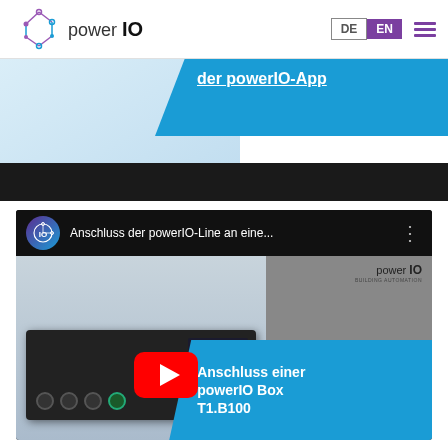[Figure (logo): powerIO logo with node graph icon, DE/EN language switcher, hamburger menu]
[Figure (screenshot): Blue ribbon banner showing partial text 'der powerIO-App' on a blue diagonal background]
[Figure (screenshot): Black bar / video player element]
[Figure (screenshot): YouTube video thumbnail for 'Anschluss der powerIO-Line an eine...' showing a powerIO Box T1.B100 device with YouTube play button and blue overlay with text 'Anschluss einer powerIO Box T1.B100']